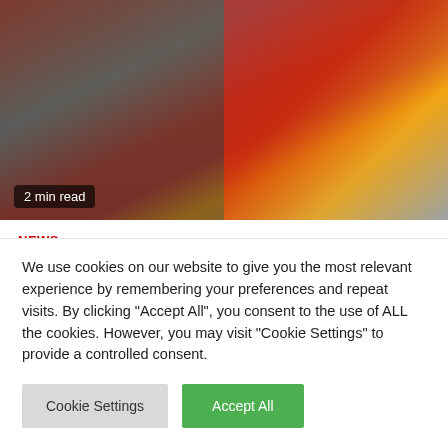[Figure (photo): Two-panel image: left panel shows people standing near colorful parade items and a motorbike; right panel shows a red truck with yellow markings and people in red shirts beside it.]
2 min read
NEWS
Horror! Kurama statue carried in a cart during a traveling parade
We use cookies on our website to give you the most relevant experience by remembering your preferences and repeat visits. By clicking "Accept All", you consent to the use of ALL the cookies. However, you may visit "Cookie Settings" to provide a controlled consent.